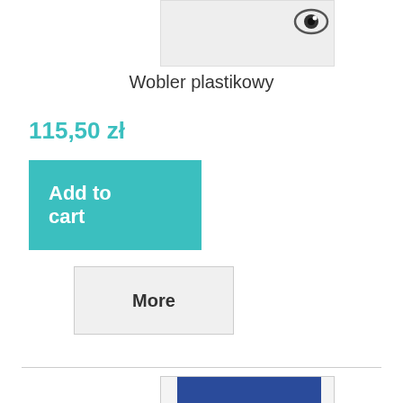[Figure (photo): Product image top - light gray background with eye/view icon in top right corner]
Wobler plastikowy
115,50 zł
Add to cart
More
[Figure (photo): Product image bottom - blue colored rectangle product image]